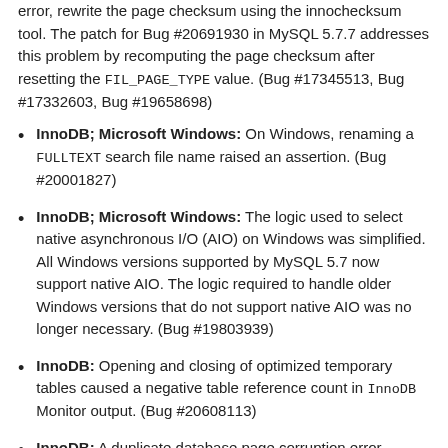error, rewrite the page checksum using the innochecksum tool. The patch for Bug #20691930 in MySQL 5.7.7 addresses this problem by recomputing the page checksum after resetting the FIL_PAGE_TYPE value. (Bug #17345513, Bug #17332603, Bug #19658698)
InnoDB; Microsoft Windows: On Windows, renaming a FULLTEXT search file name raised an assertion. (Bug #20001827)
InnoDB; Microsoft Windows: The logic used to select native asynchronous I/O (AIO) on Windows was simplified. All Windows versions supported by MySQL 5.7 now support native AIO. The logic required to handle older Windows versions that do not support native AIO was no longer necessary. (Bug #19803939)
InnoDB: Opening and closing of optimized temporary tables caused a negative table reference count in InnoDB Monitor output. (Bug #20608113)
InnoDB: A duplicate database page corruption error message was removed from buf0buf.cc. (Bug #20605167)